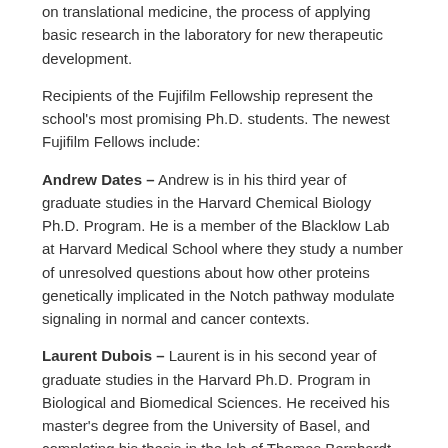on translational medicine, the process of applying basic research in the laboratory for new therapeutic development.
Recipients of the Fujifilm Fellowship represent the school's most promising Ph.D. students. The newest Fujifilm Fellows include:
Andrew Dates – Andrew is in his third year of graduate studies in the Harvard Chemical Biology Ph.D. Program. He is a member of the Blacklow Lab at Harvard Medical School where they study a number of unresolved questions about how other proteins genetically implicated in the Notch pathway modulate signaling in normal and cancer contexts.
Laurent Dubois – Laurent is in his second year of graduate studies in the Harvard Ph.D. Program in Biological and Biomedical Sciences. He received his master's degree from the University of Basel, and completing his thesis in the lab of Thomas Bernhardt.